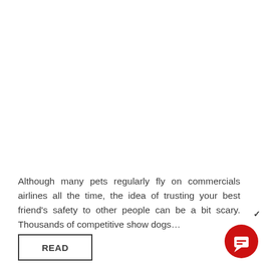Although many pets regularly fly on commercials airlines all the time, the idea of trusting your best friend's safety to other people can be a bit scary. Thousands of competitive show dogs…
[Figure (other): Red circular chat button with white speech bubble icon, and a small chevron/checkmark above it]